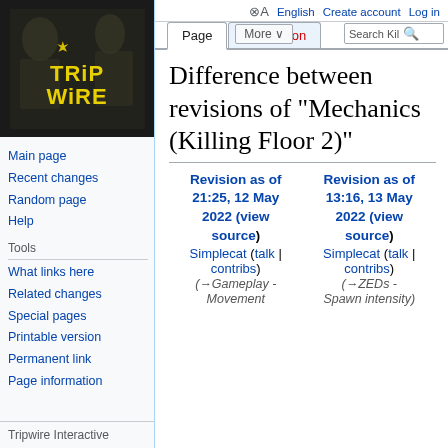[Figure (logo): Tripwire Interactive logo — stylized yellow text on black background]
Main page
Recent changes
Random page
Help
Tools
What links here
Related changes
Special pages
Printable version
Permanent link
Page information
Tripwire Interactive
English  Create account  Log in
Difference between revisions of "Mechanics (Killing Floor 2)"
| Revision as of 21:25, 12 May 2022 (view source) | Revision as of 13:16, 13 May 2022 (view source) |
| --- | --- |
| Simplecat (talk | contribs) | Simplecat (talk | contribs) |
| (→Gameplay - Movement | (→ZEDs - Spawn intensity) |